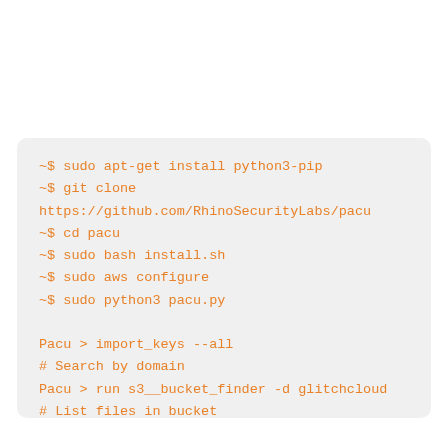~$ sudo apt-get install python3-pip
~$ git clone
https://github.com/RhinoSecurityLabs/pacu
~$ cd pacu
~$ sudo bash install.sh
~$ sudo aws configure
~$ sudo python3 pacu.py

Pacu > import_keys --all
# Search by domain
Pacu > run s3__bucket_finder -d glitchcloud
# List files in bucket